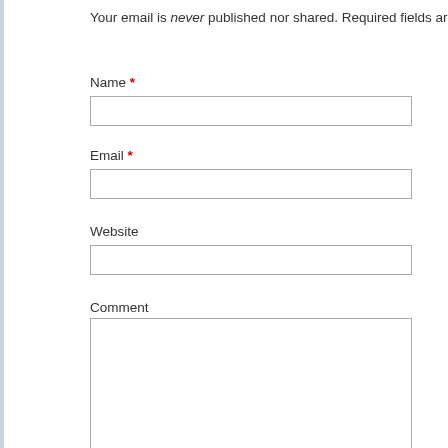Your email is never published nor shared. Required fields are marked
Name *
Email *
Website
Comment